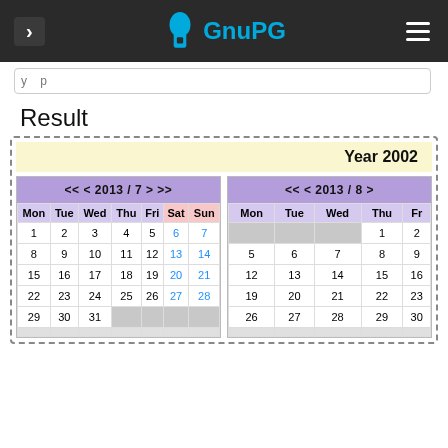GnuPG navigation bar with logo
Result
Year 2002
| Mon | Tue | Wed | Thu | Fri | Sat | Sun |
| --- | --- | --- | --- | --- | --- | --- |
| 1 | 2 | 3 | 4 | 5 | 6 | 7 |
| 8 | 9 | 10 | 11 | 12 | 13 | 14 |
| 15 | 16 | 17 | 18 | 19 | 20 | 21 |
| 22 | 23 | 24 | 25 | 26 | 27 | 28 |
| 29 | 30 | 31 |  |  |  |  |
| Mon | Tue | Wed | Thu | Fri | Sat | Sun |
| --- | --- | --- | --- | --- | --- | --- |
|  |  |  | 1 | 2 |  |  |
| 5 | 6 | 7 | 8 | 9 |  |  |
| 12 | 13 | 14 | 15 | 16 |  |  |
| 19 | 20 | 21 | 22 | 23 |  |  |
| 26 | 27 | 28 | 29 | 30 |  |  |